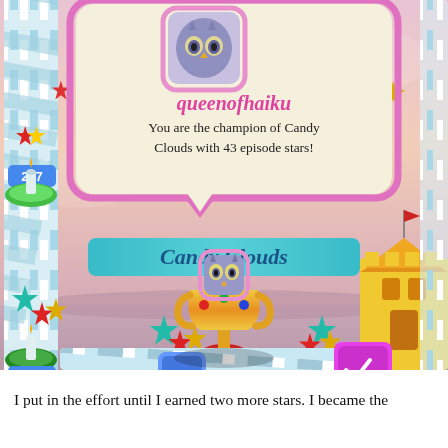[Figure (screenshot): Screenshot of Candy Crush Saga game showing a dialog popup with username 'queenofhaiku', an owl avatar, text 'You are the champion of Candy Clouds with 43 episode stars!', a 'Candy Clouds' banner, a trophy with owl on top, candy-striped pole on left with level numbers 287 and 288, colorful stars, and a castle on the right side.]
I put in the effort until I earned two more stars. I became the